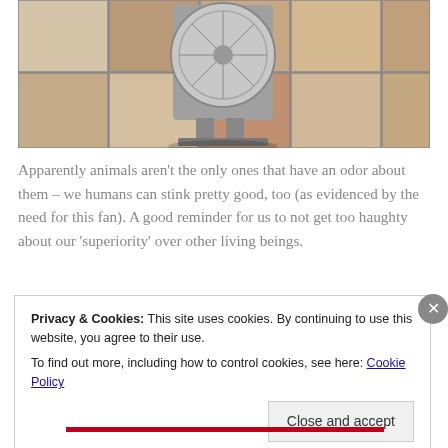[Figure (photo): A box fan sitting on a tiled floor. The floor has square ceramic tiles in beige, tan, and reddish-brown colors.]
Apparently animals aren't the only ones that have an odor about them – we humans can stink pretty good, too (as evidenced by the need for this fan). A good reminder for us to not get too haughty about our 'superiority' over other living beings.
Privacy & Cookies: This site uses cookies. By continuing to use this website, you agree to their use.
To find out more, including how to control cookies, see here: Cookie Policy

Close and accept